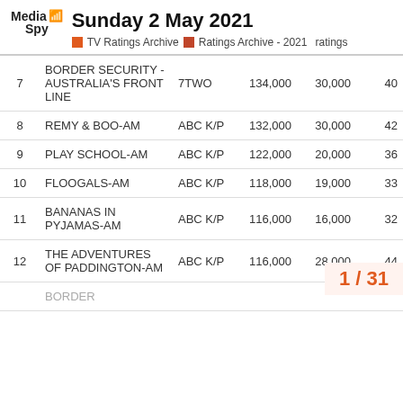Sunday 2 May 2021 | TV Ratings Archive | Ratings Archive - 2021 ratings
| # | Show | Network | Total | Col1 | Col2 |
| --- | --- | --- | --- | --- | --- |
| 7 | BORDER SECURITY - AUSTRALIA'S FRONT LINE | 7TWO | 134,000 | 30,000 | 40... |
| 8 | REMY & BOO-AM | ABC K/P | 132,000 | 30,000 | 42... |
| 9 | PLAY SCHOOL-AM | ABC K/P | 122,000 | 20,000 | 36... |
| 10 | FLOOGALS-AM | ABC K/P | 118,000 | 19,000 | 33... |
| 11 | BANANAS IN PYJAMAS-AM | ABC K/P | 116,000 | 16,000 | 32... |
| 12 | THE ADVENTURES OF PADDINGTON-AM | ABC K/P | 116,000 | 28,000 | 44... |
1 / 31